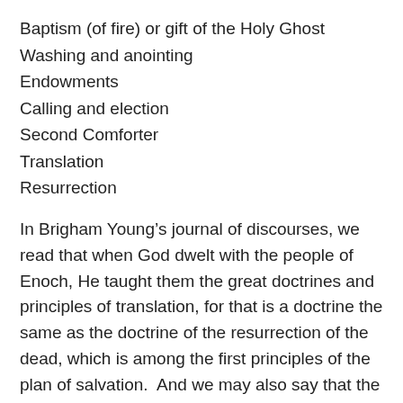Baptism (of fire) or gift of the Holy Ghost
Washing and anointing
Endowments
Calling and election
Second Comforter
Translation
Resurrection
In Brigham Young’s journal of discourses, we read that when God dwelt with the people of Enoch, He taught them the great doctrines and principles of translation, for that is a doctrine the same as the doctrine of the resurrection of the dead, which is among the first principles of the plan of salvation.  And we may also say that the doctrine of translation, which is intimately connected with that of the resurrection, is also one of the first principles of the doctrines of Christ. In Moses 1:39 we read: